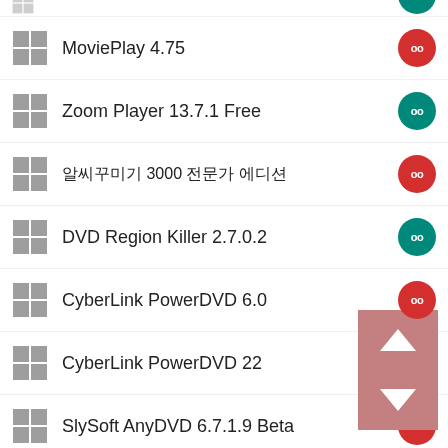(partial top item)
MoviePlay 4.75
Zoom Player 13.7.1 Free
알씨꾸미기 3000 전문가 에디션
DVD Region Killer 2.7.0.2
CyberLink PowerDVD 6.0
CyberLink PowerDVD 22
SlySoft AnyDVD 6.7.1.9 Beta
(partial bottom item)